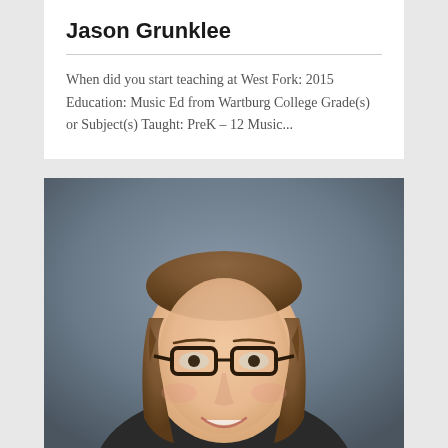Jason Grunklee
When did you start teaching at West Fork: 2015 Education: Music Ed from Wartburg College Grade(s) or Subject(s) Taught: PreK – 12 Music...
[Figure (photo): Portrait photo of a woman with long straight brown hair and dark-framed glasses, smiling, against a grey studio background]